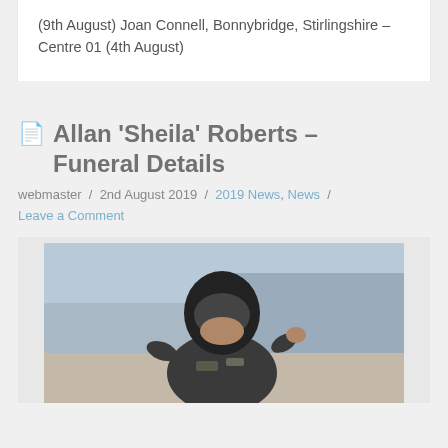(9th August) Joan Connell, Bonnybridge, Stirlingshire – Centre 01 (4th August)
Allan 'Sheila' Roberts – Funeral Details
webmaster / 2nd August 2019 / 2019 News, News / Leave a Comment
[Figure (photo): A man wearing a black motorcycle helmet and leather jacket with patches, photographed outdoors near a vehicle, raising his hand.]